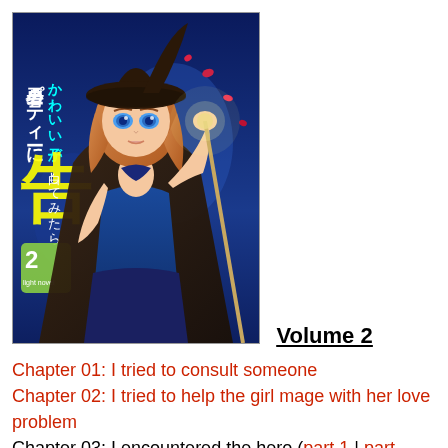[Figure (illustration): Manga light novel volume 2 cover art showing an anime-style female character with orange/auburn hair wearing a dark witch hat and blue outfit, holding a staff, with Japanese text on the cover reading volume 2]
Volume 2
Chapter 01: I tried to consult someone
Chapter 02: I tried to help the girl mage with her love problem
Chapter 03: I encountered the hero  (part 1 | part